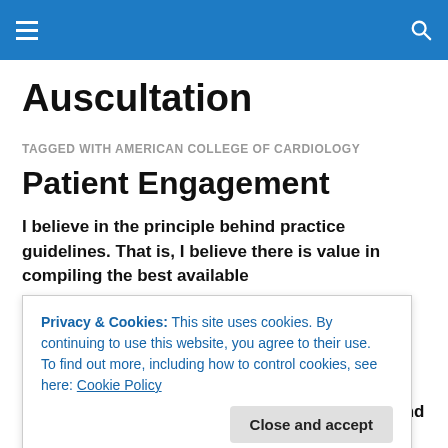Navigation bar with hamburger menu and search icon
Auscultation
TAGGED WITH AMERICAN COLLEGE OF CARDIOLOGY
Patient Engagement
I believe in the principle behind practice guidelines. That is, I believe there is value in compiling the best available
Privacy & Cookies: This site uses cookies. By continuing to use this website, you agree to their use.
To find out more, including how to control cookies, see here: Cookie Policy
that a high quality guideline, applied critically and with